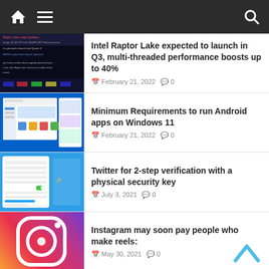Navigation bar with home, menu, and search icons
[Figure (screenshot): Dark background slide showing Raptor Lake Leak Updates with performance data text]
Intel Raptor Lake expected to launch in Q3, multi-threaded performance boosts up to 40%
February 21, 2022  0
[Figure (screenshot): Windows 11 interface showing Android apps running on Windows]
Minimum Requirements to run Android apps on Windows 11
February 21, 2022  0
[Figure (screenshot): Twitter 2-step verification settings screen on blue background]
Twitter for 2-step verification with a physical security key
July 3, 2021  0
[Figure (illustration): Instagram logo on gradient pink-purple-orange background]
Instagram may soon pay people who make reels:
May 30, 2021  0